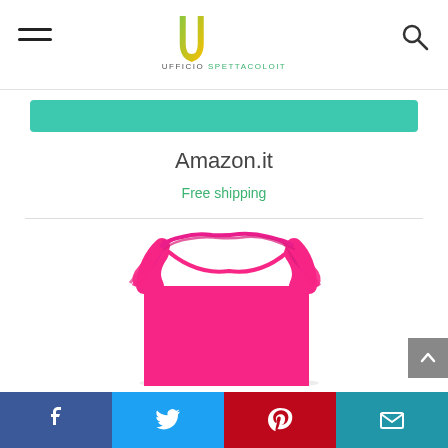UFFICIO SPETTACOLOIT - navigation header with hamburger menu and search icon
Amazon.it
Free shipping
[Figure (photo): A bright pink/hot pink children's ruffle-strap tank top on a white background. The sleeveless top features ruffled straps at the shoulders and a plain hot pink body.]
Social share buttons: Facebook, Twitter, Pinterest, Email